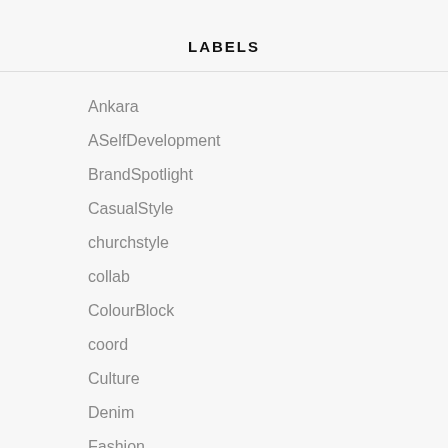LABELS
Ankara
ASelfDevelopment
BrandSpotlight
CasualStyle
churchstyle
collab
ColourBlock
coord
Culture
Denim
Fashion
FridayStyle
Giveaway